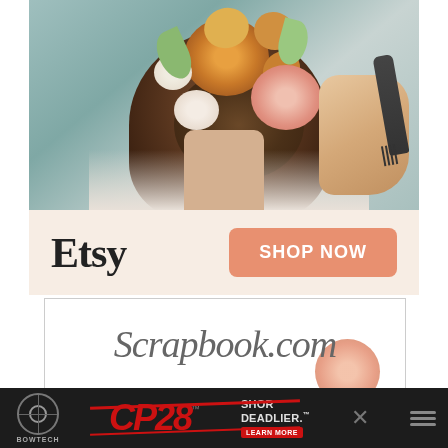[Figure (photo): Etsy advertisement showing a woman's hair updo with pink and orange flowers being styled with a comb by a hairdresser. Below the photo is the Etsy logo and a 'SHOP NOW' button on a peach/salmon background.]
[Figure (logo): Scrapbook.com advertisement banner with cursive/script logo text on white background with a pink flower graphic element.]
[Figure (infographic): Bowtech CP28 advertisement banner on dark background showing Bowtech archery logo, CP28 model name in red italic text with TM mark, 'SHORTER DEADLIER.' tagline, LEARN MORE button, and close/menu icons.]